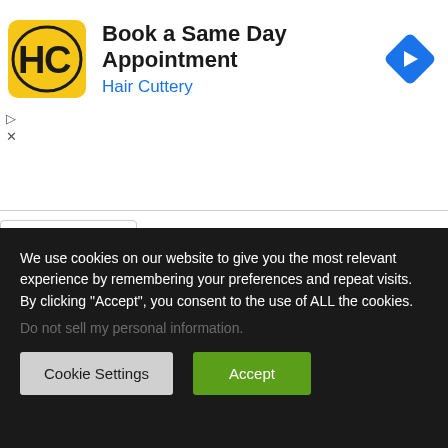[Figure (advertisement): Hair Cuttery advertisement banner with yellow HC logo square, text 'Book a Same Day Appointment' and 'Hair Cuttery' in blue, and a blue diamond navigation icon on the right]
[Figure (other): Collapsed/minimize bar with an upward chevron caret icon]
We use cookies on our website to give you the most relevant experience by remembering your preferences and repeat visits. By clicking “Accept”, you consent to the use of ALL the cookies.
Do not sell my personal information.
Cookie Settings
Accept